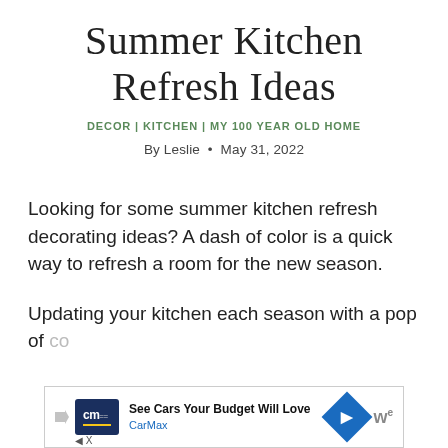Summer Kitchen Refresh Ideas
DECOR | KITCHEN | MY 100 YEAR OLD HOME
By Leslie • May 31, 2022
Looking for some summer kitchen refresh decorating ideas? A dash of color is a quick way to refresh a room for the new season.
Updating your kitchen each season with a pop of co...
[Figure (screenshot): CarMax advertisement banner: 'See Cars Your Budget Will Love' with CarMax logo and navigation icon]